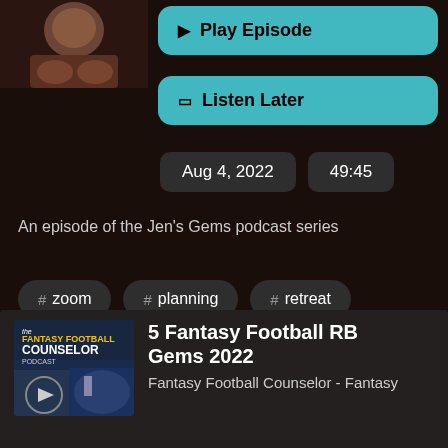[Figure (photo): Thumbnail image of podcast episode host, cropped face/hands view]
▶ Play Episode
☐ Listen Later
Aug 4, 2022    49:45
An episode of the Jen's Gems podcast series
# zoom
# planning
# retreat
# gems
[Figure (photo): Fantasy Football Counselor Podcast logo/thumbnail image]
5 Fantasy Football RB Gems 2022
Fantasy Football Counselor - Fantasy